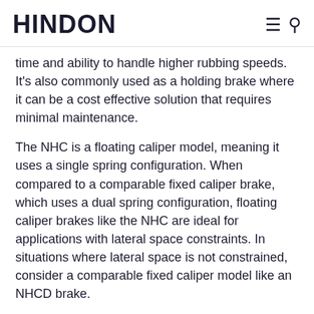HINDON
time and ability to handle higher rubbing speeds. It's also commonly used as a holding brake where it can be a cost effective solution that requires minimal maintenance.
The NHC is a floating caliper model, meaning it uses a single spring configuration. When compared to a comparable fixed caliper brake, which uses a dual spring configuration, floating caliper brakes like the NHC are ideal for applications with lateral space constraints. In situations where lateral space is not constrained, consider a comparable fixed caliper model like an NHCD brake.
This versatile fail-safe brake is used in a wide range